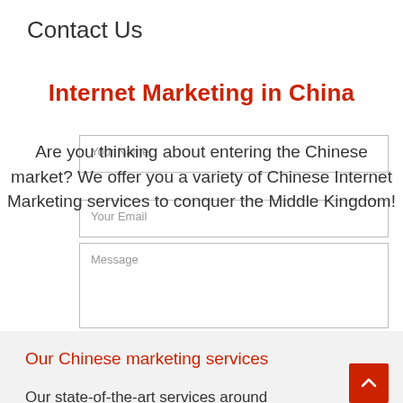Contact Us
Internet Marketing in China
Are you thinking about entering the Chinese market? We offer you a variety of Chinese Internet Marketing services to conquer the Middle Kingdom!
Your Name
Your Email
Message
Our Chinese marketing services
Our state-of-the-art services around Chinese digital marketing services include: